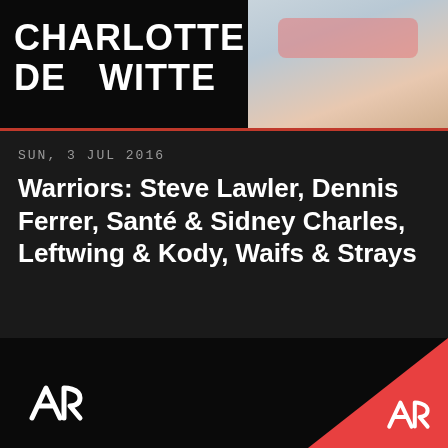CHARLOTTE DE WITTE
SUN, 3 JUL 2016
Warriors: Steve Lawler, Dennis Ferrer, Santé & Sidney Charles, Leftwing & Kody, Waifs & Strays
Steve Lawler, Dennis Ferrer, Santé, Mario da Ragnio, Waifs & Strays, Sidney Charles, Leftwing...
Ibiza  Sankeys Ibiza  25
View more archive